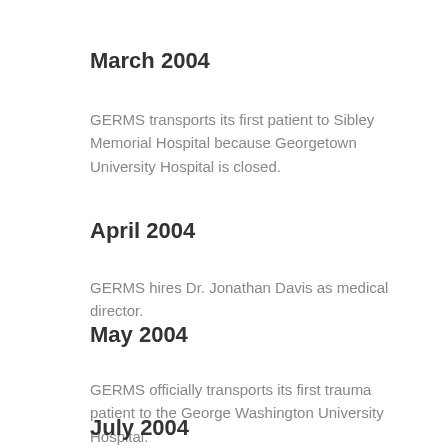March 2004
GERMS transports its first patient to Sibley Memorial Hospital because Georgetown University Hospital is closed.
April 2004
GERMS hires Dr. Jonathan Davis as medical director.
May 2004
GERMS officially transports its first trauma patient to the George Washington University Hospital.
July 2004